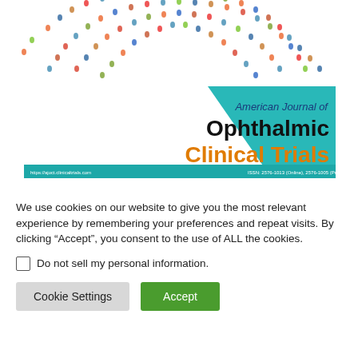[Figure (illustration): Concentric arcs of crowd of people forming a semicircle pattern at top of page]
[Figure (logo): American Journal of Ophthalmic Clinical Trials journal logo with teal background, diagonal white stripe, journal name in navy/black/orange text, and ISSN footer bar]
We use cookies on our website to give you the most relevant experience by remembering your preferences and repeat visits. By clicking “Accept”, you consent to the use of ALL the cookies.
Do not sell my personal information.
Cookie Settings
Accept